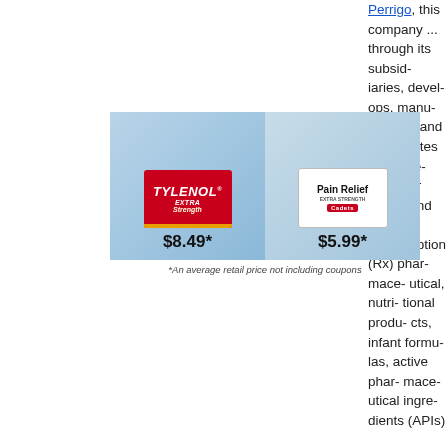Perrigo, this company ... through its subsidiaries, develops, manufactures and distributes over-the-counter (OTC) and generic prescription (Rx) pharmaceutical, nutritional products, infant formulas, active pharmaceutical ingredients (APIs)
[Figure (photo): Advertisement comparing Tylenol Extra Strength at $8.49* and Pain Relief Extra Strength (Cadets brand) at $5.99*, with caption: *An average retail price not including coupons]
*An average retail price not including coupons